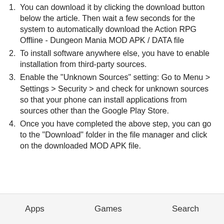You can download it by clicking the download button below the article. Then wait a few seconds for the system to automatically download the Action RPG Offline - Dungeon Mania MOD APK / DATA file
To install software anywhere else, you have to enable installation from third-party sources.
Enable the "Unknown Sources" setting: Go to Menu > Settings > Security > and check for unknown sources so that your phone can install applications from sources other than the Google Play Store.
Once you have completed the above step, you can go to the "Download" folder in the file manager and click on the downloaded MOD APK file.
Apps   Games   Search